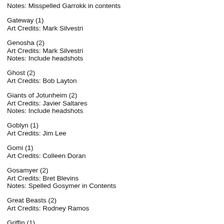Notes: Misspelled Garrokk in contents
Gateway (1)
Art Credits: Mark Silvestri
Genosha (2)
Art Credits: Mark Silvestri
Notes: Include headshots
Ghost (2)
Art Credits: Bob Layton
Giants of Jotunheim (2)
Art Credits: Javier Saltares
Notes: Include headshots
Goblyn (1)
Art Credits: Jim Lee
Gomi (1)
Art Credits: Colleen Doran
Gosamyer (2)
Art Credits: Bret Blevins
Notes: Spelled Gosymer in Contents
Great Beasts (2)
Art Credits: Rodney Ramos
Griffin (1)